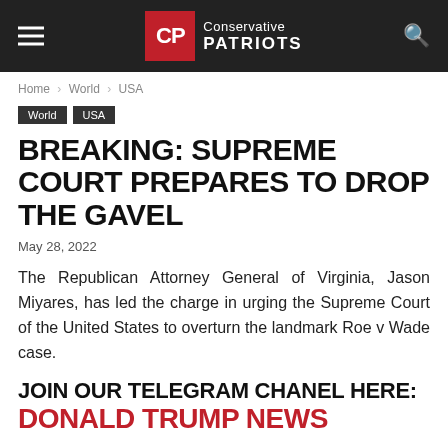CP Conservative PATRIOTS
Home › World › USA
World
USA
BREAKING: SUPREME COURT PREPARES TO DROP THE GAVEL
May 28, 2022
The Republican Attorney General of Virginia, Jason Miyares, has led the charge in urging the Supreme Court of the United States to overturn the landmark Roe v Wade case.
JOIN OUR TELEGRAM CHANEL HERE: DONALD TRUMP NEWS